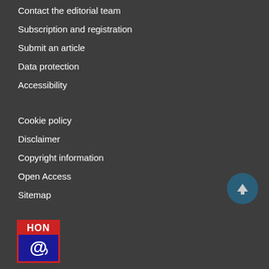Contact the editorial team
Subscription and registration
Submit an article
Data protection
Accessibility
Cookie policy
Disclaimer
Copyright information
Open Access
Sitemap
[Figure (logo): HON (Health On the Net) badge/logo with red border and blue background with @ symbol]